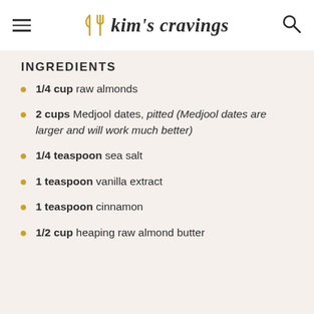Kim's Cravings
INGREDIENTS
1/4 cup raw almonds
2 cups Medjool dates, pitted (Medjool dates are larger and will work much better)
1/4 teaspoon sea salt
1 teaspoon vanilla extract
1 teaspoon cinnamon
1/2 cup heaping raw almond butter